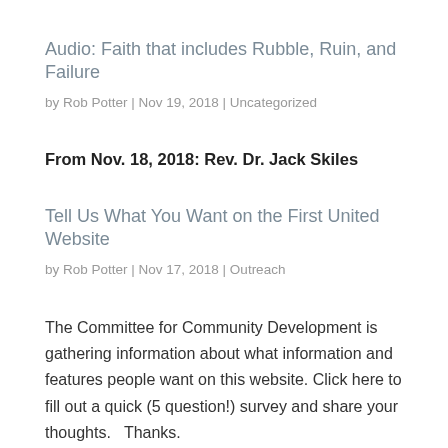Audio: Faith that includes Rubble, Ruin, and Failure
by Rob Potter | Nov 19, 2018 | Uncategorized
From Nov. 18, 2018: Rev. Dr. Jack Skiles
Tell Us What You Want on the First United Website
by Rob Potter | Nov 17, 2018 | Outreach
The Committee for Community Development is gathering information about what information and features people want on this website. Click here to fill out a quick (5 question!) survey and share your thoughts.   Thanks.